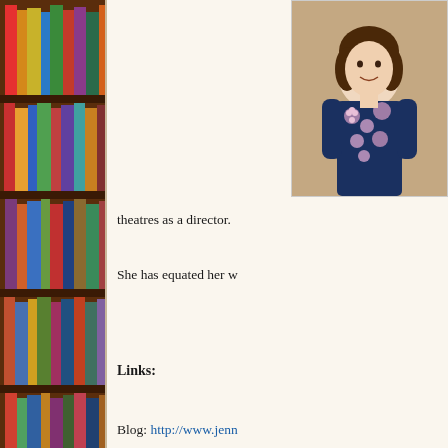[Figure (photo): Bookshelf with colorful books on wooden shelves]
[Figure (photo): Portrait photo of a woman in a navy floral dress/robe]
theatres as a director.
She has equated her w
Links:
Blog: http://www.jenn
Facebook: https://www
Twitter: https://twitter